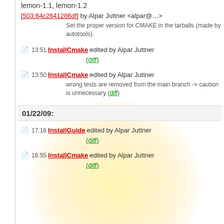lemon-1.1, lemon-1.2
[503:64c2641286df] by Alpar Juttner <alpar@...>
Set the proper version for CMAKE in the tarballs (made by autotools).
13:51 InstallCmake edited by Alpar Juttner
(diff)
13:50 InstallCmake edited by Alpar Juttner
wrong tests are removed from the main branch -> caution is unnecessary (diff)
01/22/09:
17:16 InstallGuide edited by Alpar Juttner
(diff)
16:55 InstallCmake edited by Alpar Juttner
(diff)